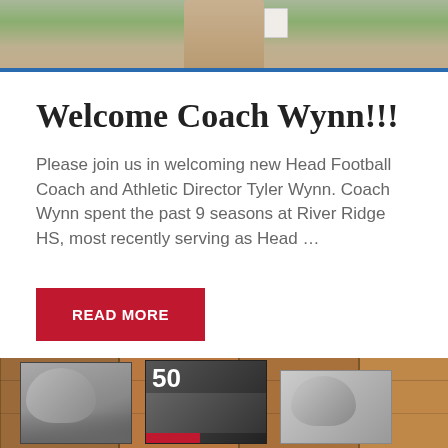[Figure (photo): Top portion of a photo showing a person on a football field, partial view cropped, with green grass visible]
Welcome Coach Wynn!!!
Please join us in welcoming new Head Football Coach and Athletic Director Tyler Wynn. Coach Wynn spent the past 9 seasons at River Ridge HS, most recently serving as Head …
READ MORE
[Figure (photo): Bottom portion showing magazines laid out on a wooden surface, including a magazine with '50' on its cover, and partial face photos visible]